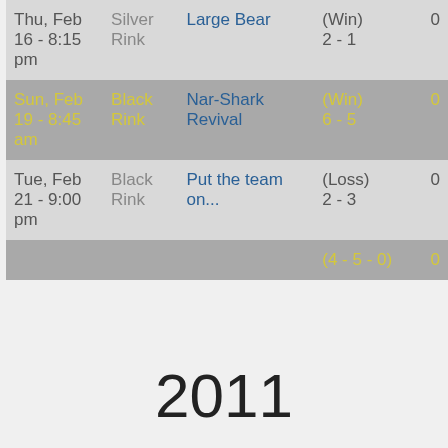| Date | Rink | Opponent | Result | Score |
| --- | --- | --- | --- | --- |
| Thu, Feb 16 - 8:15 pm | Silver Rink | Large Bear | (Win) 2 - 1 | 0 |
| Sun, Feb 19 - 8:45 am | Black Rink | Nar-Shark Revival | (Win) 6 - 5 | 0 |
| Tue, Feb 21 - 9:00 pm | Black Rink | Put the team on... | (Loss) 2 - 3 | 0 |
|  |  |  | (4 - 5 - 0) | 0 |
2011